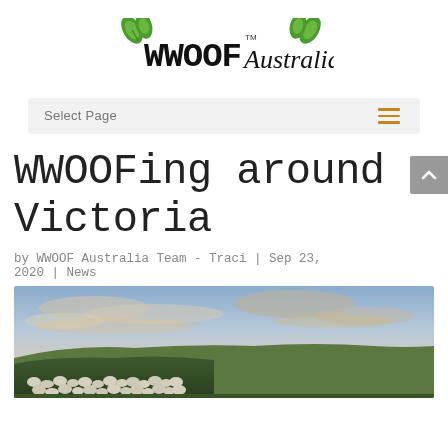[Figure (logo): WWOOF Australia logo with green leaf decorations and black stylized text]
Select Page
WWOOFing around Victoria
by WWOOF Australia Team - Traci | Sep 23, 2020 | News
[Figure (photo): Landscape photo of a flock of sheep on green hills at dusk with dramatic cloudy sky]